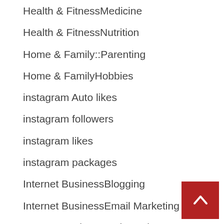Health & FitnessMedicine
Health & FitnessNutrition
Home & Family::Parenting
Home & FamilyHobbies
instagram Auto likes
instagram followers
instagram likes
instagram packages
Internet BusinessBlogging
Internet BusinessEmail Marketing
Internet BusinessWeb Design
Litecoin
Mining
Online Gambling